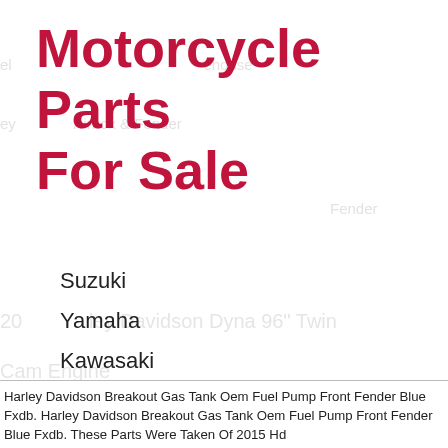Motorcycle Parts For Sale
Suzuki
Yamaha
Kawasaki
Harley Davidson
Harley
Vintage
Harley Davidson Breakout Gas Tank Oem Fuel Pump Front Fender Blue Fxdb. Harley Davidson Breakout Gas Tank Oem Fuel Pump Front Fender Blue Fxdb. These Parts Were Taken Of 2015 Hd